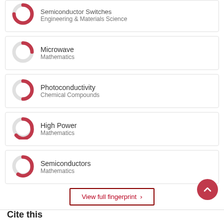Semiconductor Switches / Engineering & Materials Science
Microwave / Mathematics
Photoconductivity / Chemical Compounds
High Power / Mathematics
Semiconductors / Mathematics
View full fingerprint ›
Cite this